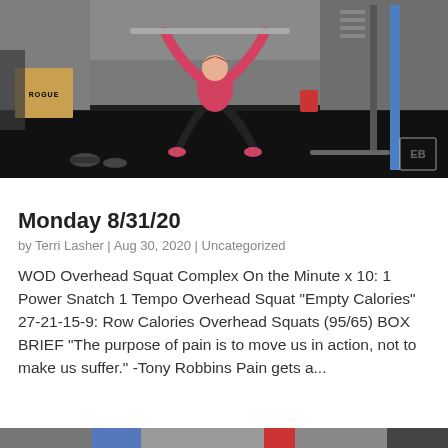[Figure (photo): A woman in a pink tank top and black leggings performing an overhead squat or snatch movement in a CrossFit gym. A ROGUE plyo box is visible on the left. Weight racks and equipment are visible in the background.]
Monday 8/31/20
by Terri Lasher | Aug 30, 2020 | Uncategorized
WOD Overhead Squat Complex On the Minute x 10: 1 Power Snatch 1 Tempo Overhead Squat "Empty Calories" 27-21-15-9: Row Calories Overhead Squats (95/65) BOX BRIEF "The purpose of pain is to move us in action, not to make us suffer." -Tony Robbins Pain gets a...